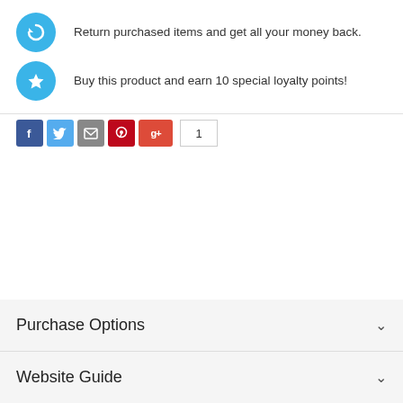Return purchased items and get all your money back.
Buy this product and earn 10 special loyalty points!
[Figure (infographic): Social share buttons row: Facebook, Twitter, Email, Pinterest, Google+, and a share count of 1]
Purchase Options
Website Guide